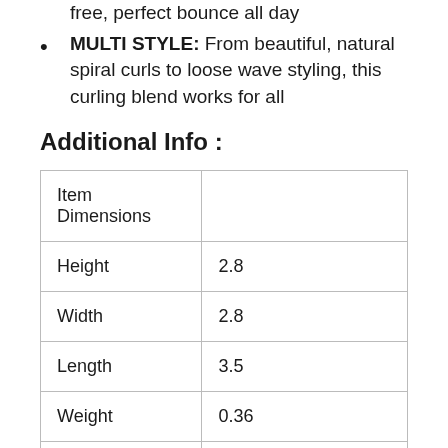free, perfect bounce all day
MULTI STYLE: From beautiful, natural spiral curls to loose wave styling, this curling blend works for all
Additional Info :
| Item Dimensions |  |
| Height | 2.8 |
| Width | 2.8 |
| Length | 3.5 |
| Weight | 0.36 |
| Release Date | 2020-05-10T00:00:01Z |